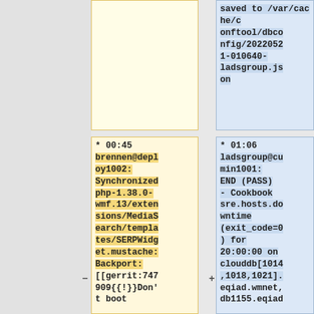saved to /var/cache/conftool/dbconfig/20220521-010640-ladsgroup.json
* 00:45 brennen@deploy1002: Synchronized php-1.38.0-wmf.13/extensions/MediaSearch/templates/SERPWidget.mustache: Backport: [[gerrit:747909{{!}}Don't boot
* 01:06 ladsgroup@cumin1001: END (PASS) - Cookbook sre.hosts.downtime (exit_code=0) for 20:00:00 on clouddb[1014,1018,1021].eqiad.wmnet, db1155.eqiad